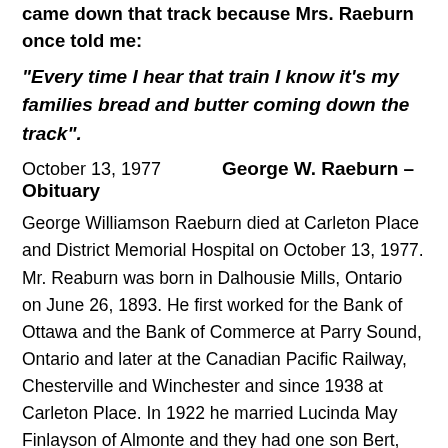came down that track because Mrs. Raeburn once told me:
“Every time I hear that train I know it’s my families bread and butter coming down the track”.
October 13, 1977    George W. Raeburn – Obituary
George Williamson Raeburn died at Carleton Place and District Memorial Hospital on October 13, 1977. Mr. Reaburn was born in Dalhousie Mills, Ontario on June 26, 1893. He first worked for the Bank of Ottawa and the Bank of Commerce at Parry Sound, Ontario and later at the Canadian Pacific Railway, Chesterville and Winchester and since 1938 at Carleton Place. In 1922 he married Lucinda May Finlayson of Almonte and they had one son Bert, presently in Yellowknife, NWT.      Mr. Reaburn was very active in the Chesterville United Churchand Zion-